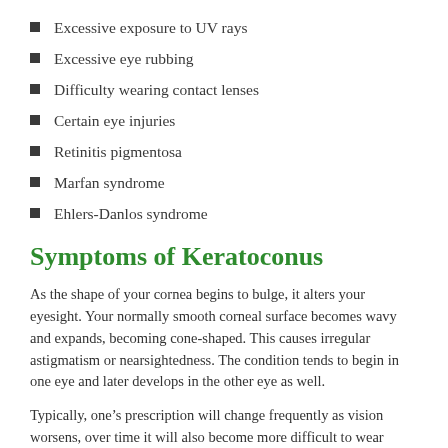Excessive exposure to UV rays
Excessive eye rubbing
Difficulty wearing contact lenses
Certain eye injuries
Retinitis pigmentosa
Marfan syndrome
Ehlers-Danlos syndrome
Symptoms of Keratoconus
As the shape of your cornea begins to bulge, it alters your eyesight. Your normally smooth corneal surface becomes wavy and expands, becoming cone-shaped. This causes irregular astigmatism or nearsightedness. The condition tends to begin in one eye and later develops in the other eye as well.
Typically, one’s prescription will change frequently as vision worsens, over time it will also become more difficult to wear contact lenses due to the changing shape of the cornea. If the contact lenses are not